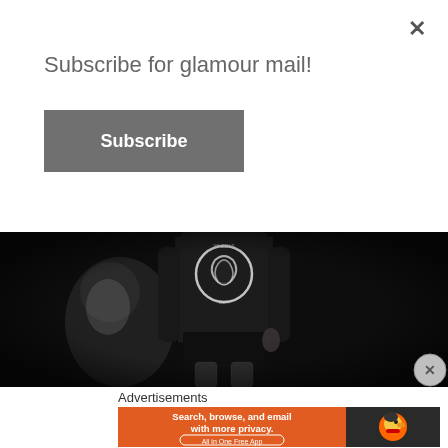×
Subscribe for glamour mail!
Subscribe
[Figure (photo): Black and white fashion photo of a model walking a runway, wearing a jacket with a snake/wheel logo on the back and a short skirt, with blurred figures in the background]
Advertisements
[Figure (screenshot): DuckDuckGo advertisement banner: 'Search, browse, and email with more privacy. All in One Free App' on orange background with DuckDuckGo duck logo]